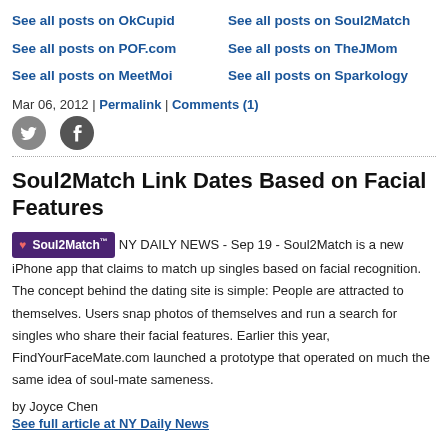See all posts on OkCupid
See all posts on Soul2Match
See all posts on POF.com
See all posts on TheJMom
See all posts on MeetMoi
See all posts on Sparkology
Mar 06, 2012 | Permalink | Comments (1)
Soul2Match Link Dates Based on Facial Features
NY DAILY NEWS - Sep 19 - Soul2Match is a new iPhone app that claims to match up singles based on facial recognition. The concept behind the dating site is simple: People are attracted to themselves. Users snap photos of themselves and run a search for singles who share their facial features. Earlier this year, FindYourFaceMate.com launched a prototype that operated on much the same idea of soul-mate sameness.
by Joyce Chen
See full article at NY Daily News